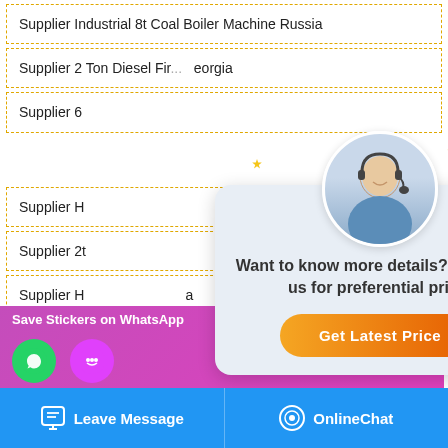Supplier Industrial 8t Coal Boiler Machine Russia
Supplier 2 Ton Diesel Fired ... Georgia
Supplier 6 ...
Supplier H...
Supplier 2t...
Supplier H... a
Supplier 10t Oil Atmospheric Pressure Boiler Armenia
Supplier 20t Oil Boiler Plant Commercial Moldavia
Condensing Boiler Commercial
Diesel Fired Boiler Machine
[Figure (screenshot): Chat popup overlay with customer service agent photo, stars decoration, text 'Want to know more details? Chat with us for preferential price!' and orange 'Get Latest Price' button. Close button top right.]
[Figure (infographic): Left sidebar with dark background showing Chat, Email, Contact icons]
[Figure (infographic): WhatsApp promo bar at bottom left: 'Save Stickers on WhatsApp' with phone and emoji icons]
[Figure (infographic): Bottom blue bar with 'Leave Message' and 'OnlineChat' buttons]